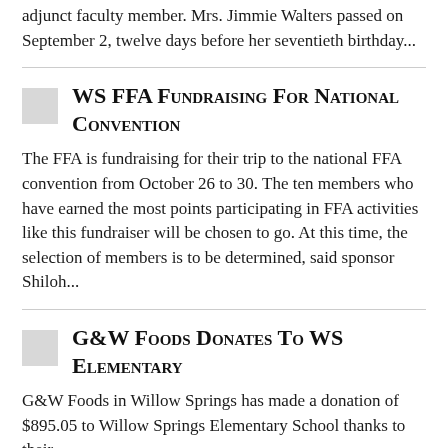adjunct faculty member. Mrs. Jimmie Walters passed on September 2, twelve days before her seventieth birthday...
WS FFA Fundraising For National Convention
The FFA is fundraising for their trip to the national FFA convention from October 26 to 30. The ten members who have earned the most points participating in FFA activities like this fundraiser will be chosen to go. At this time, the selection of members is to be determined, said sponsor Shiloh...
G&W Foods Donates To WS Elementary
G&W Foods in Willow Springs has made a donation of $895.05 to Willow Springs Elementary School thanks to their